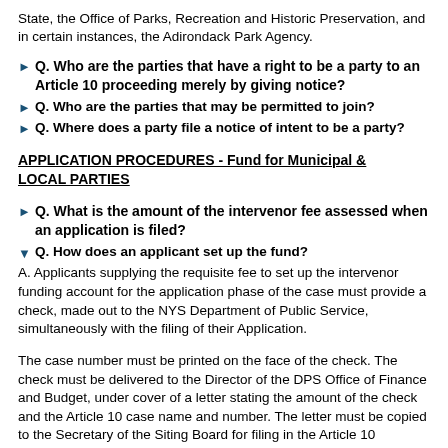State, the Office of Parks, Recreation and Historic Preservation, and in certain instances, the Adirondack Park Agency.
Q. Who are the parties that have a right to be a party to an Article 10 proceeding merely by giving notice?
Q. Who are the parties that may be permitted to join?
Q. Where does a party file a notice of intent to be a party?
APPLICATION PROCEDURES - Fund for Municipal & LOCAL PARTIES
Q. What is the amount of the intervenor fee assessed when an application is filed?
Q. How does an applicant set up the fund?
A. Applicants supplying the requisite fee to set up the intervenor funding account for the application phase of the case must provide a check, made out to the NYS Department of Public Service, simultaneously with the filing of their Application.
The case number must be printed on the face of the check. The check must be delivered to the Director of the DPS Office of Finance and Budget, under cover of a letter stating the amount of the check and the Article 10 case name and number. The letter must be copied to the Secretary of the Siting Board for filing in the Article 10...